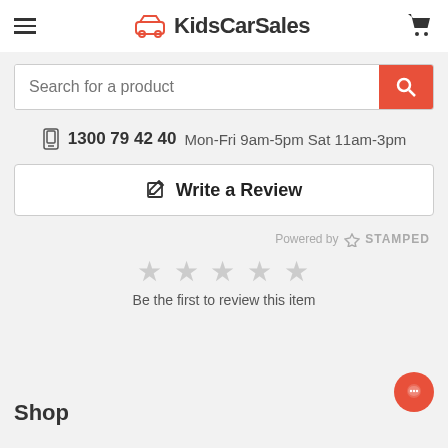KidsCarSales
Search for a product
1300 79 42 40   Mon-Fri 9am-5pm Sat 11am-3pm
✎ Write a Review
Powered by ⟳ STAMPED
[Figure (other): Five empty grey stars rating display]
Be the first to review this item
Shop